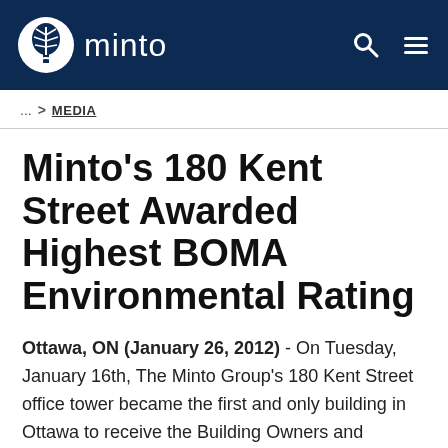minto
... > MEDIA
Minto's 180 Kent Street Awarded Highest BOMA Environmental Rating
Ottawa, ON (January 26, 2012) - On Tuesday, January 16th, The Minto Group's 180 Kent Street office tower became the first and only building in Ottawa to receive the Building Owners and Managers Association of Canada (BOMA) Building Environmental Standards (BESt) Level 4 certification – BOMA's highest level of recognition for excellence in environmental best